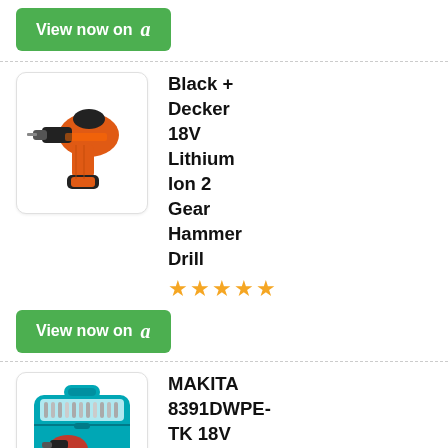[Figure (other): Green 'View now on Amazon' button at top]
[Figure (photo): Black and Decker 18V Lithium Ion drill, orange and black, with battery]
Black + Decker 18V Lithium Ion 2 Gear Hammer Drill
[Figure (other): 5 gold stars rating]
[Figure (other): Green 'View now on Amazon' button]
[Figure (photo): Makita 8391DWPE-TK 18V Combi Drill in blue case with accessories]
MAKITA 8391DWPE-TK 18V Combi Drill (+101